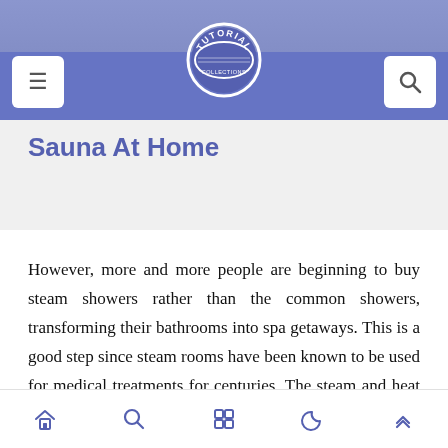[Figure (logo): Tutorial website logo - circular badge with 'TUTORIAL' text, blue and white colors]
Sauna At Home
However, more and more people are beginning to buy steam showers rather than the common showers, transforming their bathrooms into spa getaways. This is a good step since steam rooms have been known to be used for medical treatments for centuries. The steam and heat offer relaxing properties, as well as benefits to those suffering from joint pains.  Not to mention the releasing stress and strain from work that may be overtaxing or even sports activities that pushes you to your